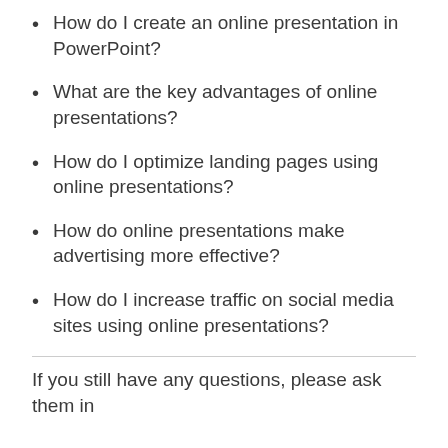How do I create an online presentation in PowerPoint?
What are the key advantages of online presentations?
How do I optimize landing pages using online presentations?
How do online presentations make advertising more effective?
How do I increase traffic on social media sites using online presentations?
If you still have any questions, please ask them in